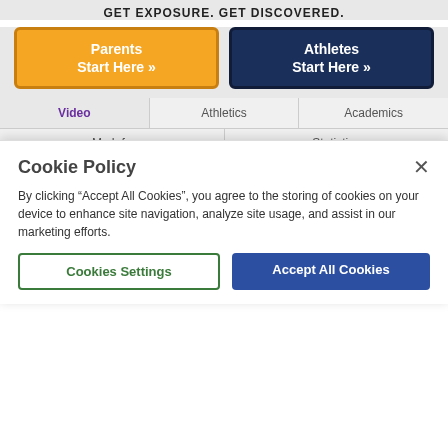GET EXPOSURE. GET DISCOVERED.
[Figure (screenshot): Orange button labeled 'Parents Start Here »' and navy blue button labeled 'Athletes Start Here »']
[Figure (screenshot): Navigation tabs: Video (active, purple), Athletics, Academics, My Info, Statistics]
[Figure (photo): Football field video player showing green field with yard lines, black background]
[Figure (photo): Row of four video thumbnails showing outdoor scenes]
Cookie Policy
By clicking “Accept All Cookies”, you agree to the storing of cookies on your device to enhance site navigation, analyze site usage, and assist in our marketing efforts.
[Figure (screenshot): Two buttons: 'Cookies Settings' (white with green border) and 'Accept All Cookies' (blue)]